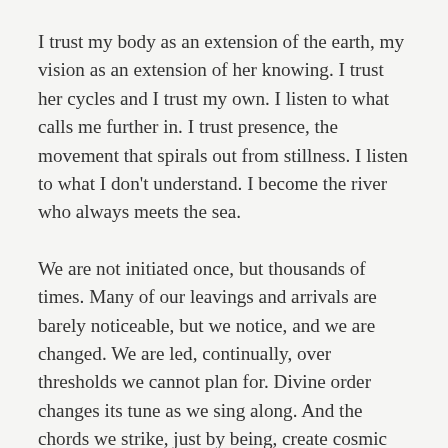I trust my body as an extension of the earth, my vision as an extension of her knowing. I trust her cycles and I trust my own. I listen to what calls me further in. I trust presence, the movement that spirals out from stillness. I listen to what I don't understand. I become the river who always meets the sea.
We are not initiated once, but thousands of times. Many of our leavings and arrivals are barely noticeable, but we notice, and we are changed. We are led, continually, over thresholds we cannot plan for. Divine order changes its tune as we sing along. And the chords we strike, just by being, create cosmic waves. Barely perceptible or earth-shaking, our energetic signatures exist here as an essential part of our collective experience. As we empty the vessel of striving, we make space for desire to come alive through us. It is simply a welcoming. An opening. A walking through. We are merging worlds, groving